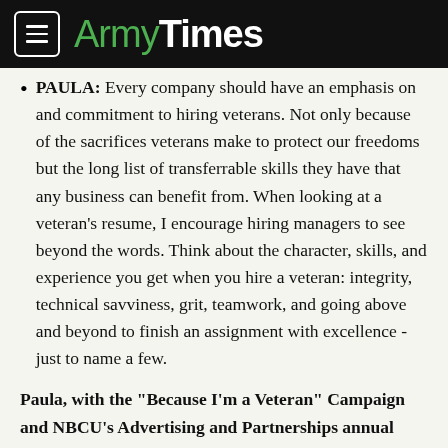ArmyTimes
PAULA: Every company should have an emphasis on and commitment to hiring veterans. Not only because of the sacrifices veterans make to protect our freedoms but the long list of transferrable skills they have that any business can benefit from. When looking at a veteran’s resume, I encourage hiring managers to see beyond the words. Think about the character, skills, and experience you get when you hire a veteran: integrity, technical savviness, grit, teamwork, and going above and beyond to finish an assignment with excellence - just to name a few.
Paula, with the “Because I’m a Veteran” Campaign and NBCU’s Advertising and Partnerships annual BOLD Vets Event, NBCUniversal has a long-standing commitment to